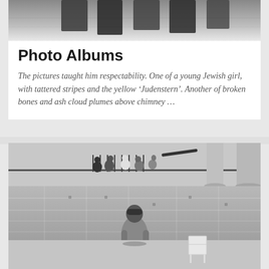[Figure (photo): Black and white photo strip at the top of the card, showing blurry dark shapes resembling photographs or fingerprints]
Photo Albums
The pictures taught him respectability. One of a young Jewish girl, with tattered stripes and the yellow ‘Judenstern’. Another of broken bones and ash cloud plumes above chimney …
[Figure (photo): Black and white photograph of a person seen from behind, wearing a jacket, standing in front of a large stone building wall. In the upper portion, a group of people sit on steps near iron railings. A white chair is visible to the right of the standing person.]